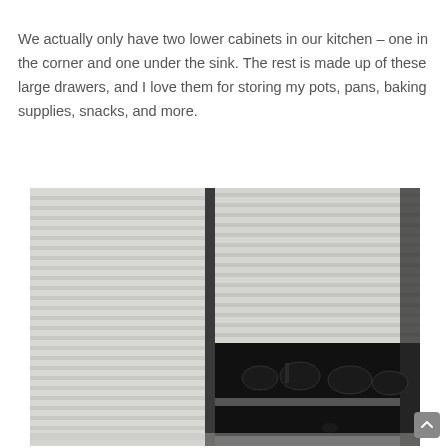We actually only have two lower cabinets in our kitchen – one in the corner and one under the sink. The rest is made up of these large drawers, and I love them for storing my pots, pans, baking supplies, snacks, and more.
[Figure (photo): Photograph of large kitchen drawer units with ribbed/corrugated white drawer fronts, one drawer open revealing dark pots and pans stored inside.]